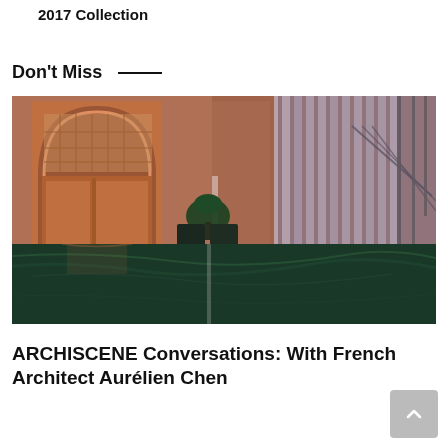2017 Collection
Don't Miss
[Figure (photo): Interior architectural photo showing a lobby or hotel space with a copper/rose-gold arched door on the left, sheer curtains and a staircase on the right, a plant and dark chairs in the middle, and a dramatic green marble reflective floor in the foreground.]
ARCHISCENE Conversations: With French Architect Aurélien Chen